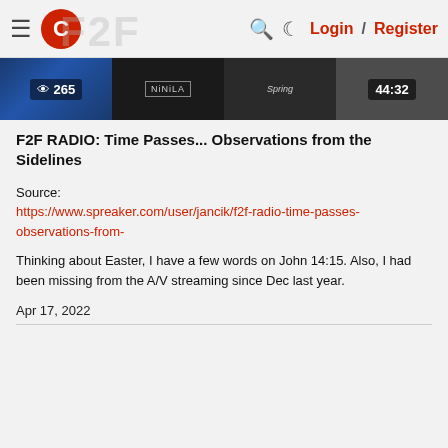≡ [logo] [search] [moon] Login / Register
[Figure (screenshot): Video thumbnail strip showing episode views (265), episode thumbnails with 'NiNiLA' and 'Spring' text, and duration 44:32]
F2F RADIO: Time Passes... Observations from the Sidelines
Source:
https://www.spreaker.com/user/jancik/f2f-radio-time-passes-observations-from-
Thinking about Easter, I have a few words on John 14:15. Also, I had been missing from the A/V streaming since Dec last year.
Apr 17, 2022